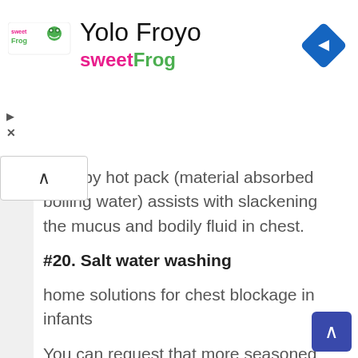[Figure (logo): SweetFrog frozen yogurt ad banner with Yolo Froyo text and navigation diamond icon]
ailed by hot pack (material absorbed boiling water) assists with slackening the mucus and bodily fluid in chest.
#20. Salt water washing
home solutions for chest blockage in infants
You can request that more seasoned children wash with some tepid water and salt. This assists with relaxing the bodily fluid and that assists with getting it out of